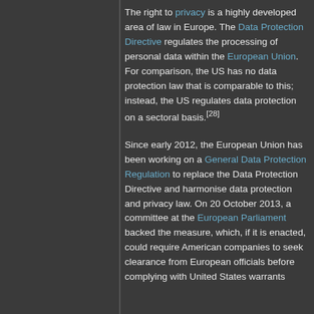The right to privacy is a highly developed area of law in Europe. The Data Protection Directive regulates the processing of personal data within the European Union. For comparison, the US has no data protection law that is comparable to this; instead, the US regulates data protection on a sectoral basis.[28]
Since early 2012, the European Union has been working on a General Data Protection Regulation to replace the Data Protection Directive and harmonise data protection and privacy law. On 20 October 2013, a committee at the European Parliament backed the measure, which, if it is enacted, could require American companies to seek clearance from European officials before complying with United States warrants